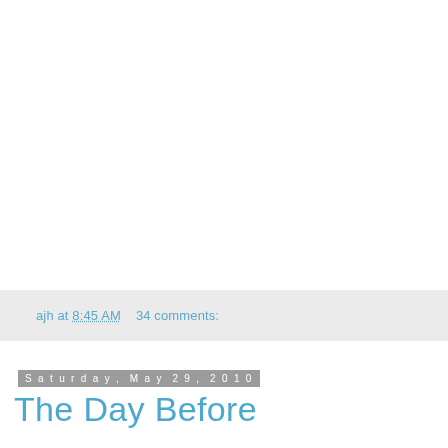ajh at 8:45 AM    34 comments:
Saturday, May 29, 2010
The Day Before